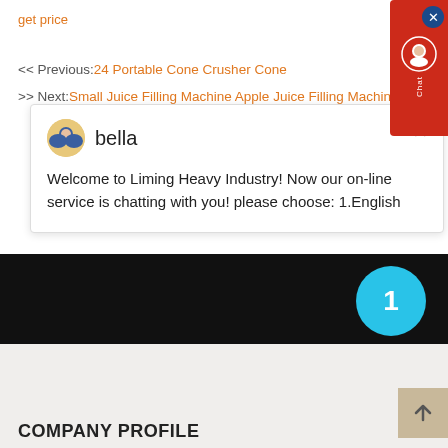get price
<< Previous:24 Portable Cone Crusher Cone
>> Next:Small Juice Filling Machine Apple Juice Filling Machine
[Figure (screenshot): Chat widget from Liming Heavy Industry with avatar of agent 'bella' and welcome message]
[Figure (infographic): Red support sidebar button with X close icon]
[Figure (infographic): Black banner with cyan circle badge showing number 1]
[Figure (infographic): Back to top button (beige/tan arrow up)]
COMPANY PROFILE